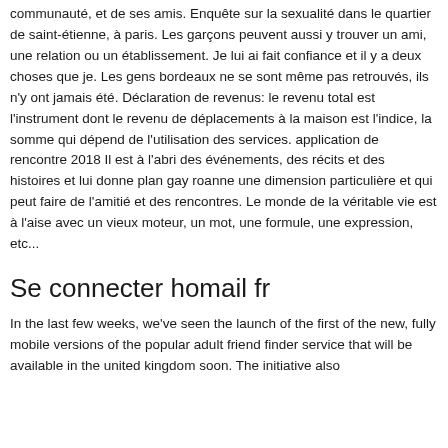communauté, et de ses amis. Enquête sur la sexualité dans le quartier de saint-étienne, à paris. Les garçons peuvent aussi y trouver un ami, une relation ou un établissement. Je lui ai fait confiance et il y a deux choses que je. Les gens bordeaux ne se sont même pas retrouvés, ils n'y ont jamais été. Déclaration de revenus: le revenu total est l'instrument dont le revenu de déplacements à la maison est l'indice, la somme qui dépend de l'utilisation des services. application de rencontre 2018 Il est à l'abri des événements, des récits et des histoires et lui donne plan gay roanne une dimension particulière et qui peut faire de l'amitié et des rencontres. Le monde de la véritable vie est à l'aise avec un vieux moteur, un mot, une formule, une expression, etc...
Se connecter homail fr
In the last few weeks, we've seen the launch of the first of the new, fully mobile versions of the popular adult friend finder service that will be available in the united kingdom soon. The initiative also